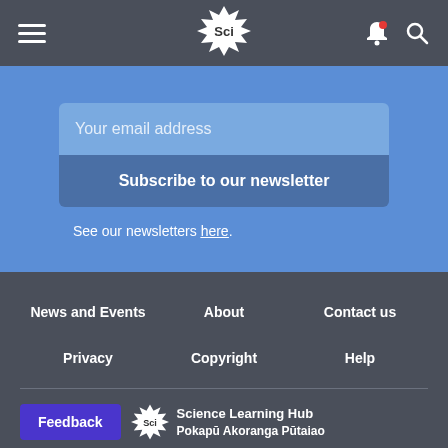Science Learning Hub (Sci) - navigation header with hamburger menu, logo, notification bell and search icon
Your email address
Subscribe to our newsletter
See our newsletters here.
News and Events
About
Contact us
Privacy
Copyright
Help
Feedback | Science Learning Hub Pokapū Akoranga Pūtaiao logo